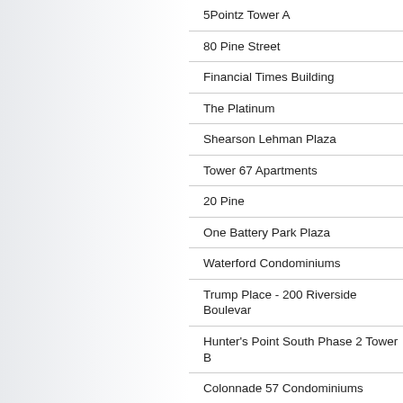5Pointz Tower A
80 Pine Street
Financial Times Building
The Platinum
Shearson Lehman Plaza
Tower 67 Apartments
20 Pine
One Battery Park Plaza
Waterford Condominiums
Trump Place - 200 Riverside Boulevard
Hunter's Point South Phase 2 Tower B
Colonnade 57 Condominiums
Fuller Building
CBS Building